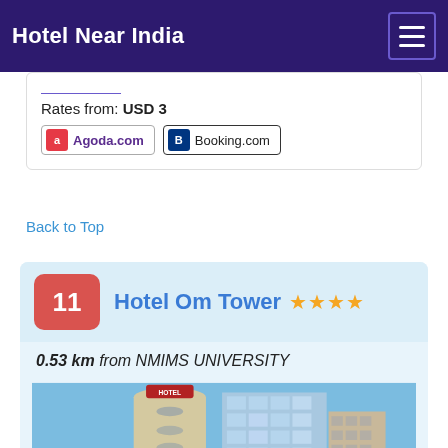Hotel Near India
Rates from: USD 3
Agoda.com | Booking.com
Back to Top
11 Hotel Om Tower ★★★★
0.53 km from NMIMS UNIVERSITY
[Figure (photo): Exterior photo of Hotel Om Tower, a tall modern building with a cylindrical tower section and blue glass facade against a blue sky.]